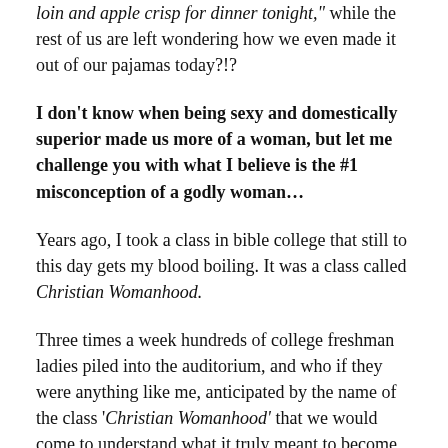loin and apple crisp for dinner tonight," while the rest of us are left wondering how we even made it out of our pajamas today?!?
I don't know when being sexy and domestically superior made us more of a woman, but let me challenge you with what I believe is the #1 misconception of a godly woman...
Years ago, I took a class in bible college that still to this day gets my blood boiling. It was a class called Christian Womanhood.
Three times a week hundreds of college freshman ladies piled into the auditorium, and who if they were anything like me, anticipated by the name of the class 'Christian Womanhood' that we would come to understand what it truly meant to become